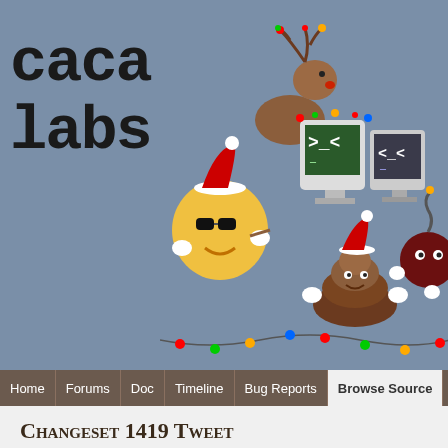[Figure (illustration): Cacalabs website header banner with cartoon mascots including a smiley with sunglasses, reindeer, two terminal computers with Christmas lights, a poop emoji with Santa hat, and a bomb, all on a blue-grey background. Large text reads 'caca labs' in monospace font.]
Home | Forums | Doc | Timeline | Bug Reports | Browse Source | Search
Changeset 1419 Tweet
Timestamp: Nov 16, 2006, 5:29:57 PM (16 years ago)
Author: Sam Hocevar
Message: Set version to 0.99.beta11. Updated NEWS and ChangeLog?.
Location: libcaca/trunk
Files: 3 edited
View differences inline
Show 2 lines around each change
Show the changes in
Ignore:
Blank lines
Case changes
White space changes